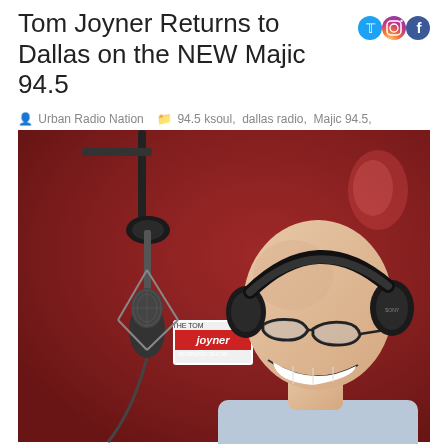Tom Joyner Returns to Dallas on the NEW Majic 94.5
Urban Radio Nation   94.5 ksoul, dallas radio, Majic 94.5, tom joyner, Tom Joyner Morning Show, urban radio
[Figure (photo): Tom Joyner, a bald man wearing glasses and headphones, smiling and speaking closely into a microphone with a 'Joyner' branded mic flag, in a radio studio with a red background wall.]